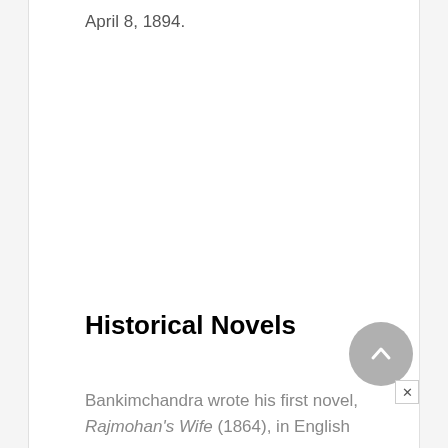April 8, 1894.
Historical Novels
Bankimchandra wrote his first novel, Rajmohan's Wife (1864), in English